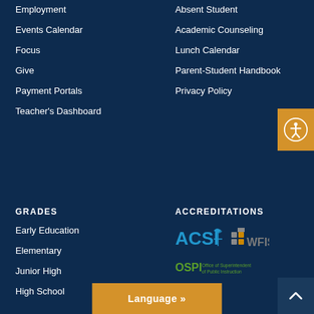Employment
Absent Student
Events Calendar
Academic Counseling
Focus
Lunch Calendar
Give
Parent-Student Handbook
Payment Portals
Privacy Policy
Teacher's Dashboard
GRADES
ACCREDITATIONS
Early Education
Elementary
Junior High
High School
[Figure (logo): ACSI logo with leaf/scale graphic]
[Figure (logo): WFIS logo with building/grid icon]
[Figure (logo): OSPI Office of Superintendent of Public Instruction logo]
Language »